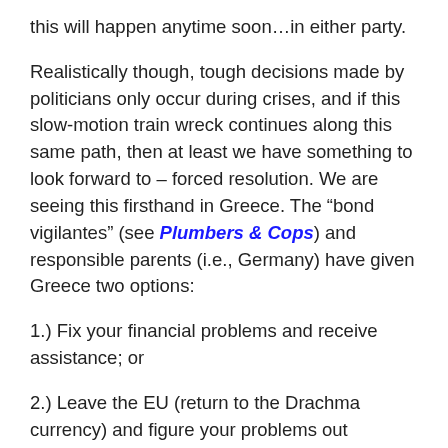this will happen anytime soon…in either party.
Realistically though, tough decisions made by politicians only occur during crises, and if this slow-motion train wreck continues along this same path, then at least we have something to look forward to – forced resolution. We are seeing this firsthand in Greece. The “bond vigilantes” (see Plumbers & Cops) and responsible parents (i.e., Germany) have given Greece two options:
1.) Fix your financial problems and receive assistance; or
2.) Leave the EU (return to the Drachma currency) and figure your problems out yourself.
Panic has a way of forcing action, and we are approaching that “when push comes to shove” moment very quickly. I believe the Europeans are currently taking a note from our